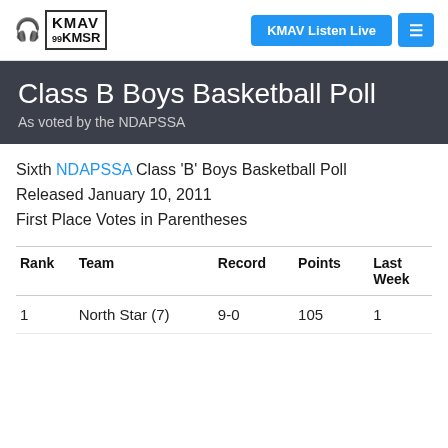KMAV Listen Live  ☰  KMAV KMSR 99
Class B Boys Basketball Poll
As voted by the NDAPSSA
Sixth NDAPSSA Class 'B' Boys Basketball Poll Released January 10, 2011 First Place Votes in Parentheses
| Rank | Team | Record | Points | Last Week |
| --- | --- | --- | --- | --- |
| 1 | North Star (7) | 9-0 | 105 | 1 |